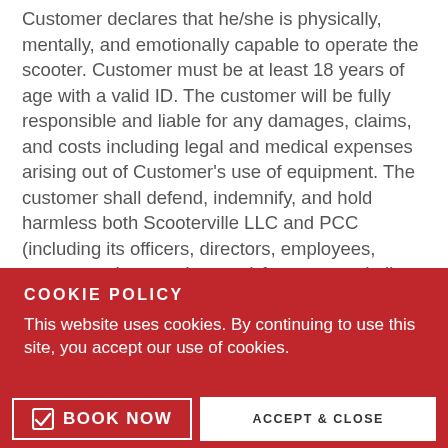Customer declares that he/she is physically, mentally, and emotionally capable to operate the scooter. Customer must be at least 18 years of age with a valid ID. The customer will be fully responsible and liable for any damages, claims, and costs including legal and medical expenses arising out of Customer's use of equipment. The customer shall defend, indemnify, and hold harmless both Scooterville LLC and PCC (including its officers, directors, employees, representatives, and agents) from any and all actual or alleged claims, demands, causes of action, liability, suits, loss, expense (including legal and medical
COOKIE POLICY
This website uses cookies. By continuing to use this site, you accept our use of cookies.
BOOK NOW
ACCEPT & CLOSE